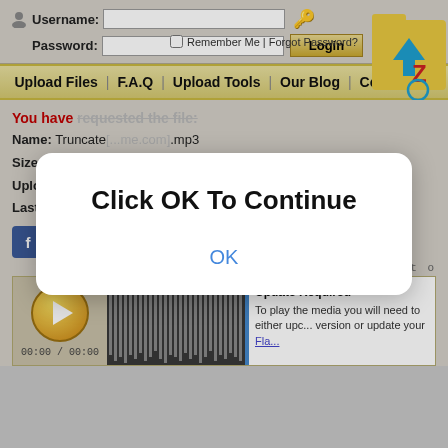[Figure (screenshot): Website login form with username and password fields and a Login button]
[Figure (logo): ZippyShare folder/download logo in top right corner]
Upload Files | F.A.Q | Upload Tools | Our Blog | Contact Us
You have requested the file:
Name: Truncate[...me.com].mp3
Size: 9.38 MB
Uploaded: 22/06/2022 15:43
Last download: 28-08-2022 03:00
[Figure (screenshot): Social sharing icons: Facebook, Twitter, Pinterest, Pocket, and others]
Click the Play butt
[Figure (screenshot): Media player with play button, waveform display, and Update Required message box]
Update Required
To play the media you will need to either upc... version or update your Fla...
[Figure (screenshot): Modal dialog overlay with text: Click OK To Continue, and OK button]